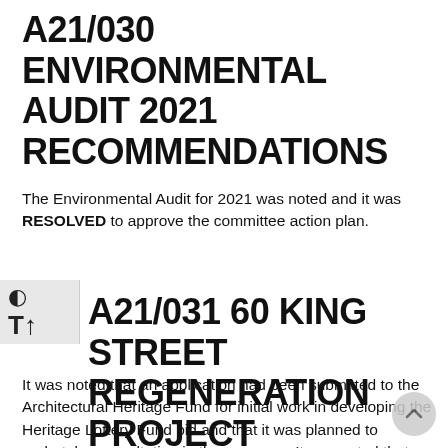A21/030 ENVIRONMENTAL AUDIT 2021 RECOMMENDATIONS
The Environmental Audit for 2021 was noted and it was RESOLVED to approve the committee action plan.
A21/031 60 KING STREET REGENERATION PROJECT
It was noted that an application had been submitted to the Architectural Heritage Fund for initial work in developing the Heritage Lottery Fund bid and that it was planned to undertake consultation in the new year. It was noted that the working group had agreed the core aims of the project as providing a function space for the town, ensuring the town council retains overall control of the building and for the asset to at least break even, but ideally generate a revenue surplus for the council. It was further noted the working group would be developing up to